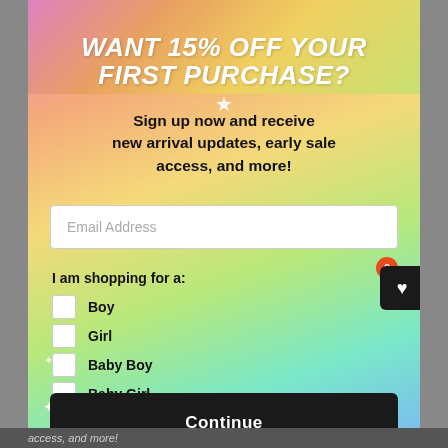WANT 15% OFF YOUR FIRST PURCHASE?
Sign up now and receive new arrival updates, early sale access, and more!
Email Address
I am shopping for a:
Boy
Girl
Baby Boy
Baby Girl
Continue